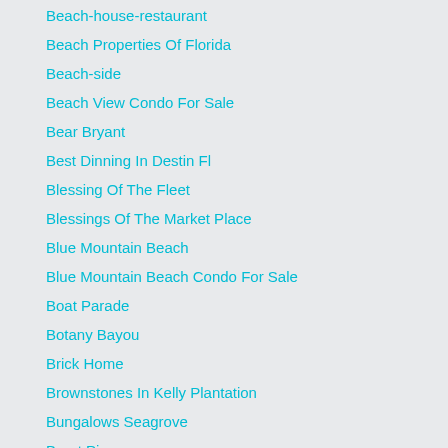Beach-house-restaurant
Beach Properties Of Florida
Beach-side
Beach View Condo For Sale
Bear Bryant
Best Dinning In Destin Fl
Blessing Of The Fleet
Blessings Of The Market Place
Blue Mountain Beach
Blue Mountain Beach Condo For Sale
Boat Parade
Botany Bayou
Brick Home
Brownstones In Kelly Plantation
Bungalows Seagrove
Burnt Pine
Burnt Pine Real Estate
Buxton Mills In Hammock Bay
Carillon-beach